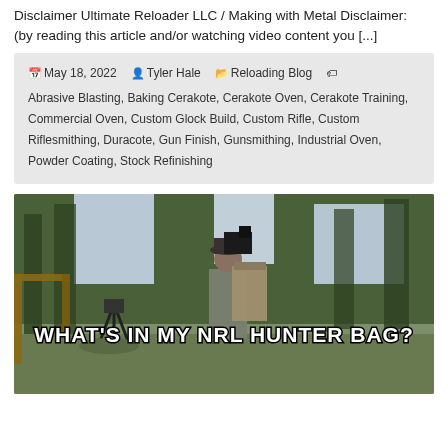Disclaimer Ultimate Reloader LLC / Making with Metal Disclaimer: (by reading this article and/or watching video content you [...]
May 18, 2022   Tyler Hale   Reloading Blog   Abrasive Blasting, Baking Cerakote, Cerakote Oven, Cerakote Training, Commercial Oven, Custom Glock Build, Custom Rifle, Custom Riflesmithing, Duracote, Gun Finish, Gunsmithing, Industrial Oven, Powder Coating, Stock Refinishing
[Figure (photo): A person carrying a large backpack and camera equipment standing outdoors with trees and a wooden structure in background. Text overlay reads 'WHAT'S IN MY NRL HUNTER BAG?' in bold white letters with black outline.]